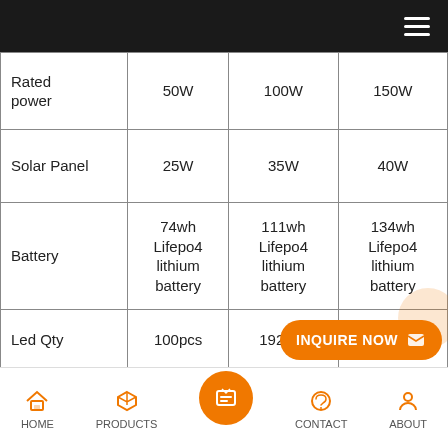|  | 50W | 100W | 150W |
| --- | --- | --- | --- |
| Rated power | 50W | 100W | 150W |
| Solar Panel | 25W | 35W | 40W |
| Battery | 74wh Lifepo4 lithium battery | 111wh Lifepo4 lithium battery | 134wh Lifepo4 lithium battery |
| Led Qty | 100pcs | 192pcs | 308pcs |
| Lumens | 100lm/w~120lm/w | 100lm/w~120lm/w | 100lm/w~120lm/w |
| Chip | Jingyuan/bp |  |  |
HOME  PRODUCTS  CONTACT  ABOUT